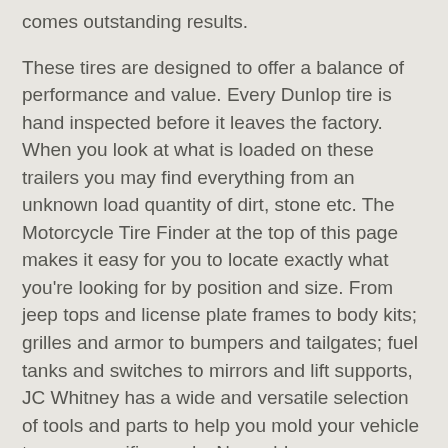comes outstanding results.
These tires are designed to offer a balance of performance and value. Every Dunlop tire is hand inspected before it leaves the factory. When you look at what is loaded on these trailers you may find everything from an unknown load quantity of dirt, stone etc. The Motorcycle Tire Finder at the top of this page makes it easy for you to locate exactly what you're looking for by position and size. From jeep tops and license plate frames to body kits; grilles and armor to bumpers and tailgates; fuel tanks and switches to mirrors and lift supports, JC Whitney has a wide and versatile selection of tools and parts to help you mold your vehicle to your specific needs. No problem.
* Competition tires * Trailer tires See Customer Terms and Conditions (PDF) for full details. Every Dunlop tire is hand